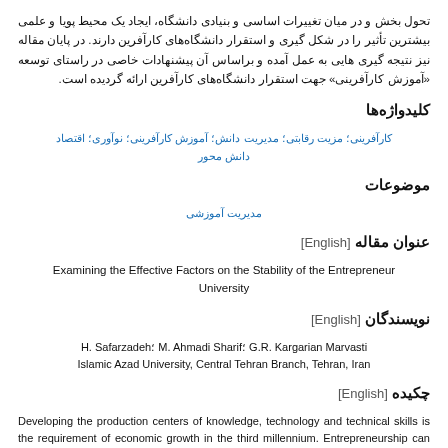تحول بخش و در میان تغییرات اساسی و بنیادی دانشگاه، ایجاد یک محیط پویا و علمی بیشترین تأثیر را در شکل گیری و استقرار دانشگاه‌های کارآفرین دارند. در پایان مقاله نیز نتیجه گیری هایی به عمل آمده و براساس آن پیشنهادات خاصی در راستای توسعه «آموزش کارآفرینی» جهت استقرار دانشگاه‌های کارآفرین ارائه گردیده است.
کلیدواژه‌ها
کارآفرینی؛ مزیت رقابتی؛ مدیریت دانش؛ آموزش کارآفرینی؛ نوآوری؛ اقتصاد دانش محور
موضوعات
مدیریت آموزشی
عنوان مقاله [English]
Examining the Effective Factors on the Stability of the Entrepreneur University
نویسندگان [English]
H. Safarzadeh؛ M. Ahmadi Sharif؛ G.R. Kargarian Marvasti
Islamic Azad University, Central Tehran Branch, Tehran, Iran
چکیده [English]
Developing the production centers of knowledge, technology and technical skills is the requirement of economic growth in the third millennium. Entrepreneurship can be considered as one of the important engines of growth and development. At this point, the role of entrepreneur and entrepreneurship in the community is determined which can be more clearly...